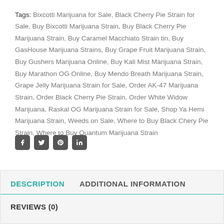Tags: Bixcotti Marijuana for Sale, Black Cherry Pie Strain for Sale, Buy Bixcotti Marijuana Strain, Buy Black Cherry Pie Marijuana Strain, Buy Caramel Macchiato Strain tin, Buy GasHouse Marijuana Strains, Buy Grape Fruit Marijuana Strain, Buy Gushers Marijuana Online, Buy Kali Mist Marijuana Strain, Buy Marathon OG Online, Buy Mendo Breath Marijuana Strain, Grape Jelly Marijuana Strain for Sale, Order AK-47 Marijuana Strain, Order Black Cherry Pie Strain, Order White Widow Marijuana, Raskal OG Marijuana Strain for Sale, Shop Ya Hemi Marijuana Strain, Weeds on Sale, Where to Buy Black Chery Pie Strain, Where to Buy Quantum Marijuana Strain
[Figure (other): Social sharing icons: Facebook, Twitter, Pinterest, LinkedIn]
DESCRIPTION   ADDITIONAL INFORMATION
REVIEWS (0)